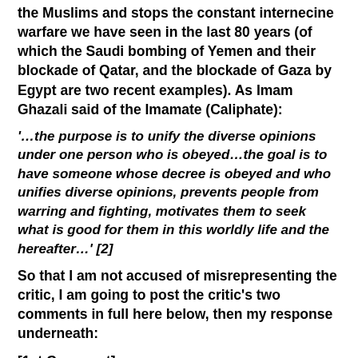the Muslims and stops the constant internecine warfare we have seen in the last 80 years (of which the Saudi bombing of Yemen and their blockade of Qatar, and the blockade of Gaza by Egypt are two recent examples). As Imam Ghazali said of the Imamate (Caliphate):
'…the purpose is to unify the diverse opinions under one person who is obeyed…the goal is to have someone whose decree is obeyed and who unifies diverse opinions, prevents people from warring and fighting, motivates them to seek what is good for them in this worldly life and the hereafter…' [2]
So that I am not accused of misrepresenting the critic, I am going to post the critic's two comments in full here below, then my response underneath:
[1st Comment]: